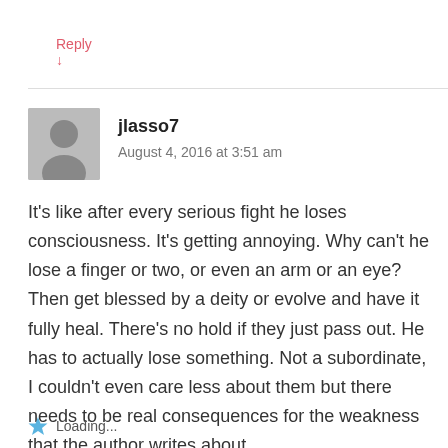Reply ↓
[Figure (illustration): User avatar placeholder — grey square with silhouette of a person]
jlasso7
August 4, 2016 at 3:51 am
It's like after every serious fight he loses consciousness. It's getting annoying. Why can't he lose a finger or two, or even an arm or an eye? Then get blessed by a deity or evolve and have it fully heal. There's no hold if they just pass out. He has to actually lose something. Not a subordinate, I couldn't even care less about them but there needs to be real consequences for the weakness that the author writes about.
Loading...